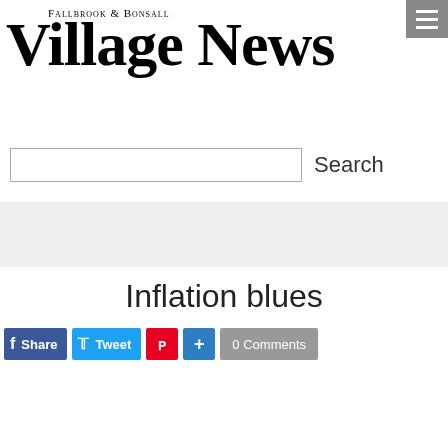[Figure (logo): Fallbrook & Bonsall Village News newspaper logo with large serif font]
[Figure (screenshot): Search input box with Search label and hamburger menu button]
Inflation blues
[Figure (infographic): Social sharing bar with Facebook Share, Twitter Tweet, Pinterest, Add, and 0 Comments buttons]